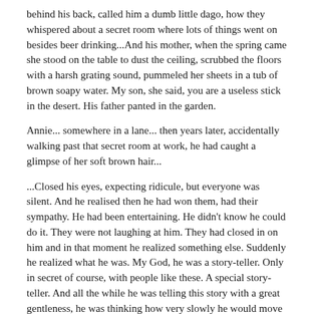behind his back, called him a dumb little dago, how they whispered about a secret room where lots of things went on besides beer drinking...And his mother, when the spring came she stood on the table to dust the ceiling, scrubbed the floors with a harsh grating sound, pummeled her sheets in a tub of brown soapy water. My son, she said, you are a useless stick in the desert. His father panted in the garden.
Annie... somewhere in a lane... then years later, accidentally walking past that secret room at work, he had caught a glimpse of her soft brown hair...
...Closed his eyes, expecting ridicule, but everyone was silent. And he realised then he had won them, had their sympathy. He had been entertaining. He didn't know he could do it. They were not laughing at him. They had closed in on him and in that moment he realized something else. Suddenly he realized what he was. My God, he was a story-teller. Only in secret of course, with people like these. A special story-teller. And all the while he was telling this story with a great gentleness, he was thinking how very slowly he would move in on the lot of them. Had a few more things to say then he knew he could do what he liked.
He started off again, went carefully. "This room. Silk curtains bulging out. Just like now."
"What room, Henry?"
"This room... I've been here before ... before you brought me."
"But you can't have."